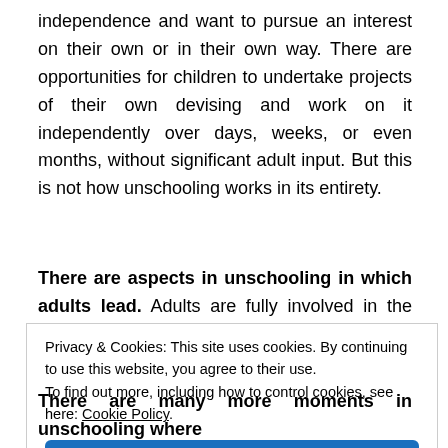independence and want to pursue an interest on their own or in their own way. There are opportunities for children to undertake projects of their own devising and work on it independently over days, weeks, or even months, without significant adult input. But this is not how unschooling works in its entirety.
There are aspects in unschooling in which adults lead. Adults are fully involved in the expansion of children's
Privacy & Cookies: This site uses cookies. By continuing to use this website, you agree to their use.
To find out more, including how to control cookies, see here: Cookie Policy
[Close and accept button]
There are many more moments in unschooling where